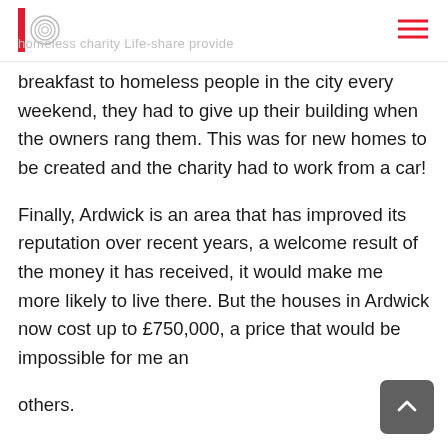homeless charity Life-share provide
breakfast to homeless people in the city every weekend, they had to give up their building when the owners rang them. This was for new homes to be created and the charity had to work from a car!
Finally, Ardwick is an area that has improved its reputation over recent years, a welcome result of the money it has received, it would make me more likely to live there. But the houses in Ardwick now cost up to £750,000, a price that would be impossible for me and others.